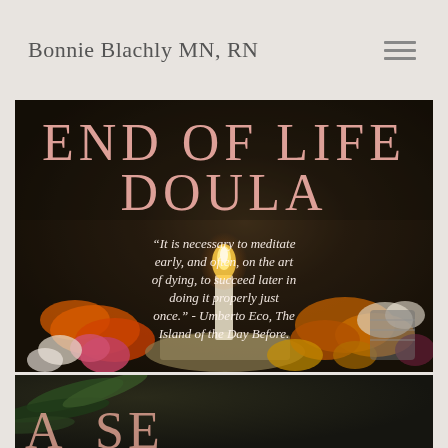Bonnie Blachly MN, RN
[Figure (photo): Hero image with dark blurred background showing a lit candle surrounded by colorful flowers (marigolds, roses, tropical flowers) with text overlay. Large pink/rose text reads 'END OF LIFE DOULA' and below is an italic white quote.]
END OF LIFE DOULA
“It is necessary to meditate early, and often, on the art of dying, to succeed later in doing it properly just once.” - Umberto Eco, The Island of the Day Before.
[Figure (photo): Bottom partial image showing green leaves/plant material and beginning of text that appears to start with letter A, in similar warm-toned style.]